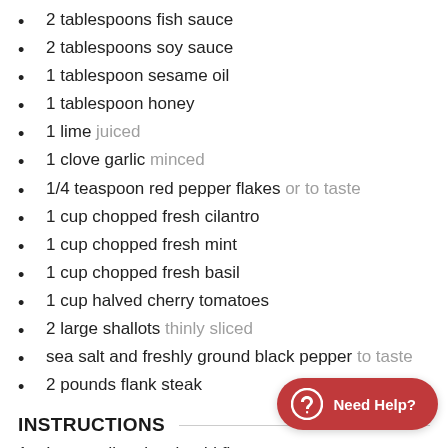2 tablespoons fish sauce
2 tablespoons soy sauce
1 tablespoon sesame oil
1 tablespoon honey
1 lime juiced
1 clove garlic minced
1/4 teaspoon red pepper flakes or to taste
1 cup chopped fresh cilantro
1 cup chopped fresh mint
1 cup chopped fresh basil
1 cup halved cherry tomatoes
2 large shallots thinly sliced
sea salt and freshly ground black pepper to taste
2 pounds flank steak
INSTRUCTIONS
In a medium bowl, add first (olive oil through pepper) and stir to